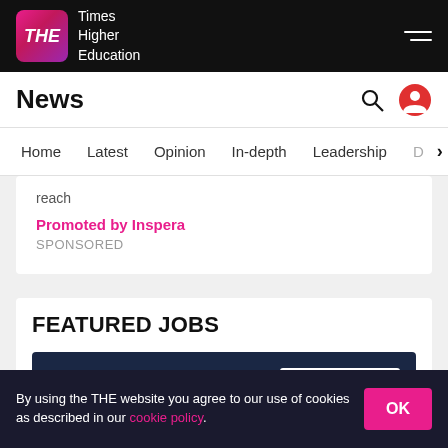THE Times Higher Education
News
Home  Latest  Opinion  In-depth  Leadership  D  >
reach
Promoted by Inspera
SPONSORED
FEATURED JOBS
Research Fellow, Flexible Electronics
NATIONAL UNIVERSITY OF SINGAPORE
[Figure (logo): NUS National University of Singapore logo]
By using the THE website you agree to our use of cookies as described in our cookie policy.